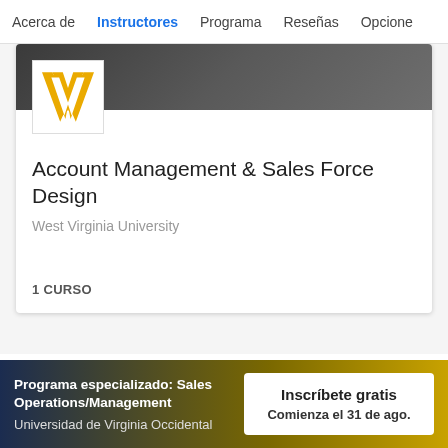Acerca de | Instructores | Programa | Reseñas | Opcione
[Figure (logo): West Virginia University Flying WV logo in gold on white background]
Account Management & Sales Force Design
West Virginia University
1 CURSO
Programa especializado: Sales Operations/Management
Universidad de Virginia Occidental
Inscríbete gratis
Comienza el 31 de ago.